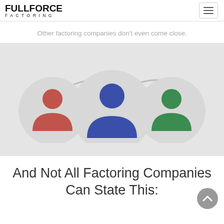FULLFORCE FACTORING
Other factoring companies don't even come close.
[Figure (illustration): Three person/user icons in gray circles: left icon is red/brown, center icon is blue (larger circle), right icon is green. Two gray arcs connect the circles, suggesting a process flow or connection between three parties.]
And Not All Factoring Companies Can State This: